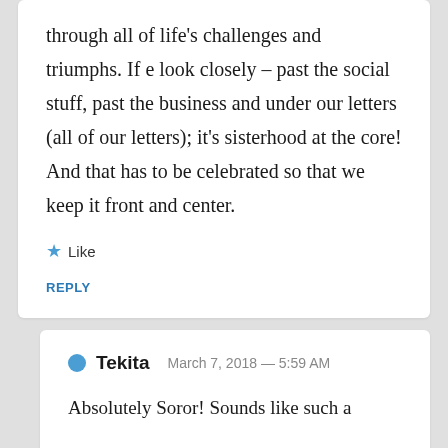through all of life's challenges and triumphs. If e look closely – past the social stuff, past the business and under our letters (all of our letters); it's sisterhood at the core! And that has to be celebrated so that we keep it front and center.
Like
REPLY
Tekita  March 7, 2018 — 5:59 AM
Absolutely Soror! Sounds like such a